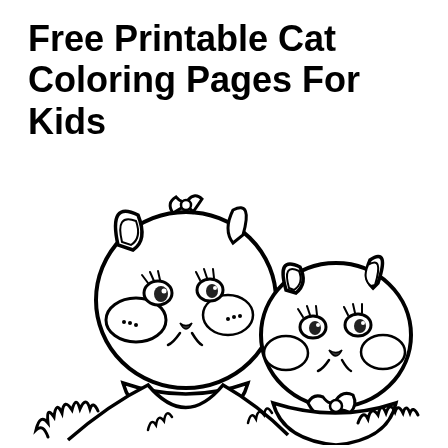Free Printable Cat Coloring Pages For Kids
[Figure (illustration): Black and white coloring page illustration of two cute cartoon kittens side by side. The left kitten has a bow on its head, big eyes with lashes, and a smiling face. The right kitten is slightly smaller, also smiling with big eyes and wearing a bow tie/collar. Both cats are drawn in a simple outline style suitable for coloring. Grass or foliage is visible at the bottom.]